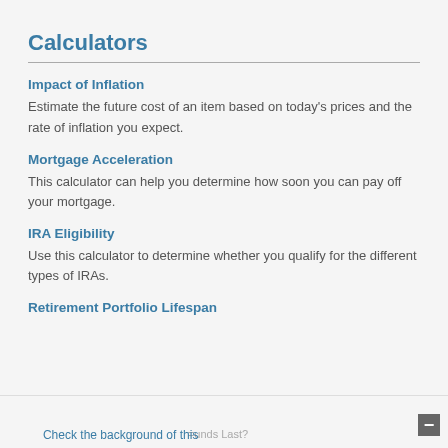Calculators
Impact of Inflation
Estimate the future cost of an item based on today's prices and the rate of inflation you expect.
Mortgage Acceleration
This calculator can help you determine how soon you can pay off your mortgage.
IRA Eligibility
Use this calculator to determine whether you qualify for the different types of IRAs.
Retirement Portfolio Lifespan
Funds Last? Check the background of this